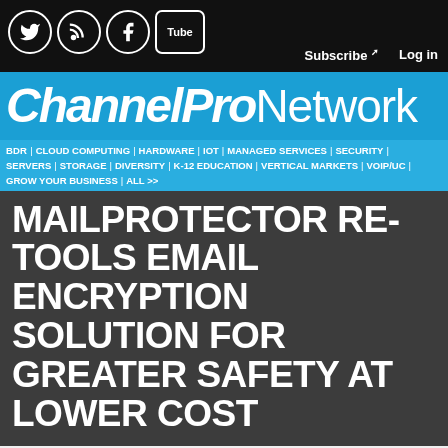ChannelPro Network | Subscribe | Log in | Twitter | RSS | Facebook | YouTube
ChannelPro Network
BDR | CLOUD COMPUTING | HARDWARE | IOT | MANAGED SERVICES | SECURITY | SERVERS | STORAGE | DIVERSITY | K-12 EDUCATION | VERTICAL MARKETS | VOIP/UC | GROW YOUR BUSINESS | ALL >>
MAILPROTECTOR RE-TOOLS EMAIL ENCRYPTION SOLUTION FOR GREATER SAFETY AT LOWER COST
Aggressively